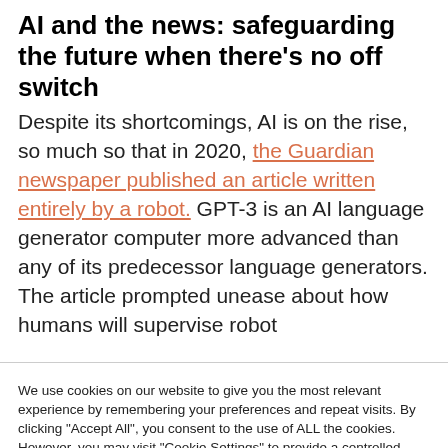AI and the news: safeguarding the future when there's no off switch
Despite its shortcomings, AI is on the rise, so much so that in 2020, the Guardian newspaper published an article written entirely by a robot. GPT-3 is an AI language generator computer more advanced than any of its predecessor language generators. The article prompted unease about how humans will supervise robot
We use cookies on our website to give you the most relevant experience by remembering your preferences and repeat visits. By clicking "Accept All", you consent to the use of ALL the cookies. However, you may visit "Cookie Settings" to provide a controlled consent.